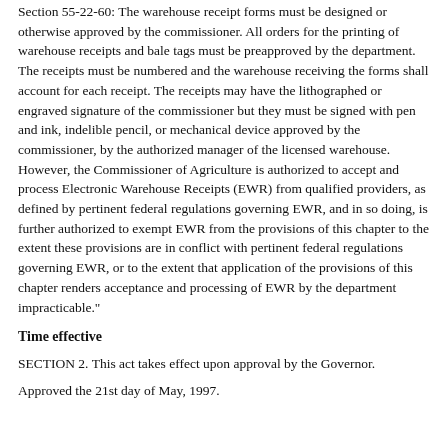Section 55-22-60: The warehouse receipt forms must be designed or otherwise approved by the commissioner. All orders for the printing of warehouse receipts and bale tags must be preapproved by the department. The receipts must be numbered and the warehouse receiving the forms shall account for each receipt. The receipts may have the lithographed or engraved signature of the commissioner but they must be signed with pen and ink, indelible pencil, or mechanical device approved by the commissioner, by the authorized manager of the licensed warehouse. However, the Commissioner of Agriculture is authorized to accept and process Electronic Warehouse Receipts (EWR) from qualified providers, as defined by pertinent federal regulations governing EWR, and in so doing, is further authorized to exempt EWR from the provisions of this chapter to the extent these provisions are in conflict with pertinent federal regulations governing EWR, or to the extent that application of the provisions of this chapter renders acceptance and processing of EWR by the department impracticable."
Time effective
SECTION 2. This act takes effect upon approval by the Governor.
Approved the 21st day of May, 1997.